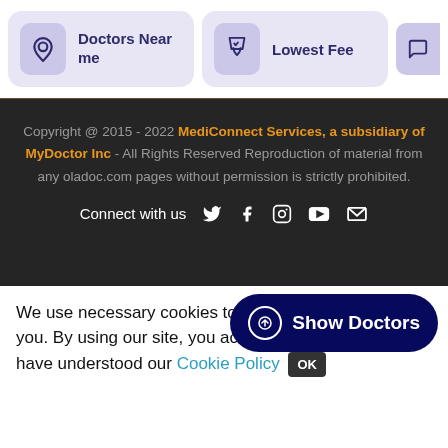[Figure (screenshot): Top navigation bar with 'Doctors Near me' card (location pin icon, lavender background) and 'Lowest Fee' card (shield icon, lavender background), plus partial third card on right edge]
[Figure (screenshot): Dark footer section with copyright text mentioning MediConnect Services, a subsidiary of MyDoctor Inc, and social media icons row]
Copyright @ 2015 - 2022 MediConnect Services, a subsidiary of MyDoctor Inc - All Rights Reserved Reproduction of material from any oladoc.com pages without permission is strictly prohibited.
Connect with us
We use necessary cookies to m... you. By using our site, you acknowledge that you have understood our Cookie Policy OK
[Figure (screenshot): Show Doctors button - dark navy rounded pill button with upward arrow circle icon and text 'Show Doctors']